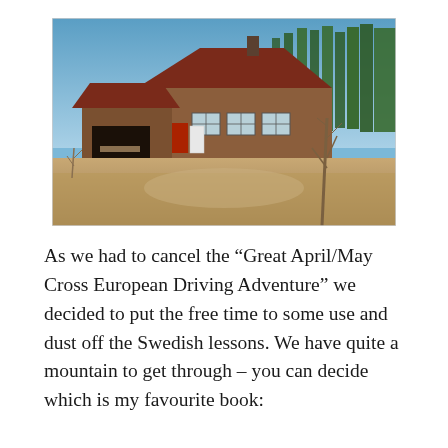[Figure (photo): Exterior photo of a wooden Scandinavian-style log house with a dark red/brown roof, surrounded by bare trees and dry grass in winter or early spring. Blue sky in the background.]
As we had to cancel the “Great April/May Cross European Driving Adventure” we decided to put the free time to some use and dust off the Swedish lessons. We have quite a mountain to get through – you can decide which is my favourite book: